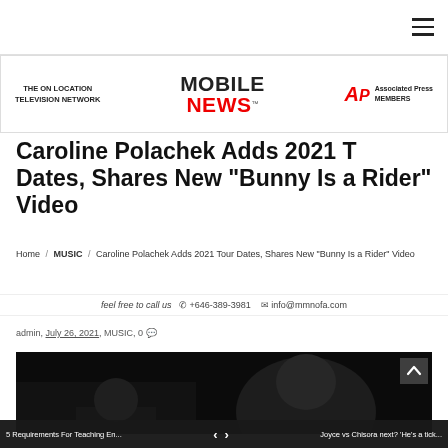Mobile News - Navigation header with hamburger menu
[Figure (logo): Ad banner with three logos: THE ON LOCATION TELEVISION NETWORK, MOBILE NEWS (TM), and AP Associated Press MEMBERS]
Caroline Polachek Adds 2021 Tour Dates, Shares New "Bunny Is a Rider" Video
Home / MUSIC / Caroline Polachek Adds 2021 Tour Dates, Shares New "Bunny Is a Rider" Video
feel free to call us  +646-389-3981   info@mmnofa.com
admin, July 26, 2021, MUSIC, 0
[Figure (photo): Dark concert/performance photo of a person, partially visible]
5 Requirements For Teaching En... < > Joyce vs Chisora next? 'He's a tick...